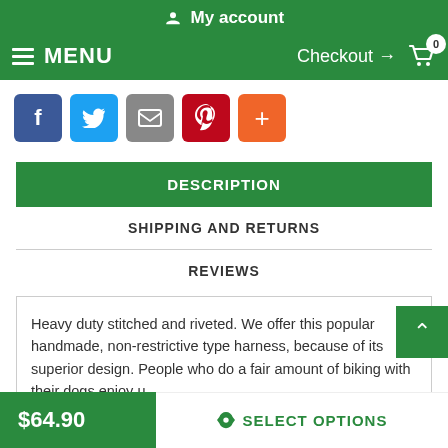My account
MENU  Checkout → 0
[Figure (other): Social sharing buttons: Facebook (blue), Twitter (light blue), Email (gray), Pinterest (red), Plus/More (orange)]
DESCRIPTION
SHIPPING AND RETURNS
REVIEWS
Heavy duty stitched and riveted. We offer this popular handmade, non-restrictive type harness, because of its superior design. People who do a fair amount of biking with their dogs enjoy u... this harness. The design allows all harness straps to follow the
$64.90   SELECT OPTIONS